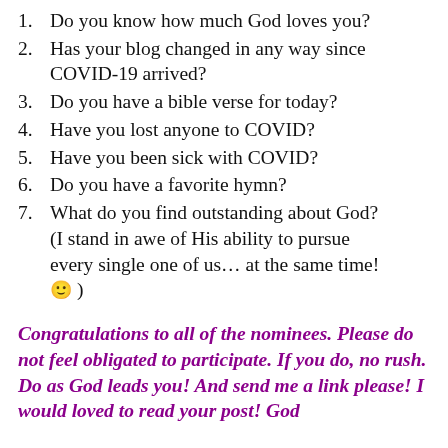1. Do you know how much God loves you?
2. Has your blog changed in any way since COVID-19 arrived?
3. Do you have a bible verse for today?
4. Have you lost anyone to COVID?
5. Have you been sick with COVID?
6. Do you have a favorite hymn?
7. What do you find outstanding about God? (I stand in awe of His ability to pursue every single one of us... at the same time! 🙂 )
Congratulations to all of the nominees. Please do not feel obligated to participate. If you do, no rush. Do as God leads you! And send me a link please! I would loved to read your post! God